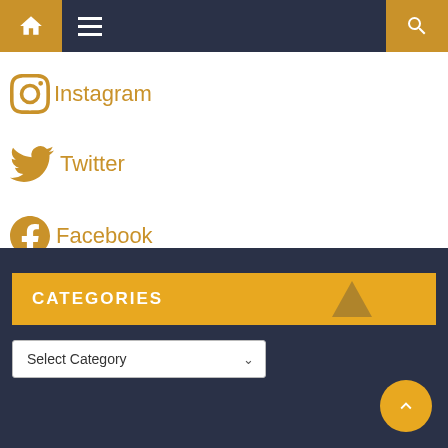[Figure (screenshot): Navigation bar with dark blue background, golden home icon on left, hamburger menu, and golden search icon on right]
Instagram
Twitter
Facebook
[Figure (screenshot): Dark blue footer panel with CATEGORIES bar in golden color and a Select Category dropdown, plus a scroll-to-top button]
CATEGORIES
Select Category